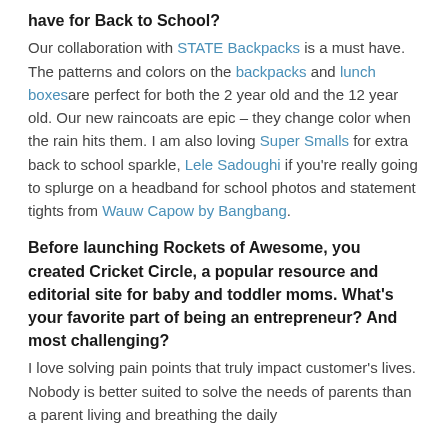have for Back to School?
Our collaboration with STATE Backpacks is a must have. The patterns and colors on the backpacks and lunch boxesare perfect for both the 2 year old and the 12 year old. Our new raincoats are epic – they change color when the rain hits them. I am also loving Super Smalls for extra back to school sparkle, Lele Sadoughi if you're really going to splurge on a headband for school photos and statement tights from Wauw Capow by Bangbang.
Before launching Rockets of Awesome, you created Cricket Circle, a popular resource and editorial site for baby and toddler moms. What's your favorite part of being an entrepreneur? And most challenging?
I love solving pain points that truly impact customer's lives. Nobody is better suited to solve the needs of parents than a parent living and breathing the daily